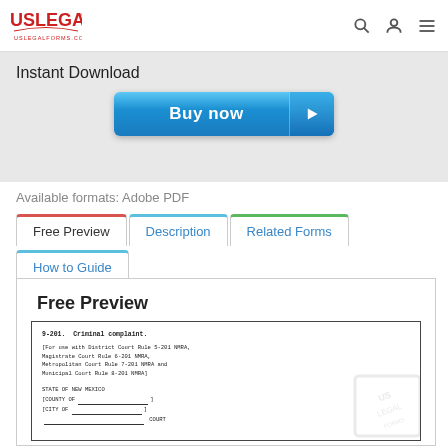USLegal™ uslegalforms.com
Instant Download
[Figure (other): Blue 'Buy now' button with arrow icon]
Available formats: Adobe PDF
Free Preview | Description | Related Forms | How to Guide
Free Preview
[Figure (screenshot): Document preview showing '9-201. Criminal complaint.' form for New Mexico courts including District Court Rule 5-201 NMRA, Magistrate Court Rule 6-201 NMRA, Metropolitan Court Rule 7-201 NMRA and Municipal Court Rule 8-201 NMRA. STATE OF NEW MEXICO, [COUNTY OF], [CITY OF], _____ COURT]